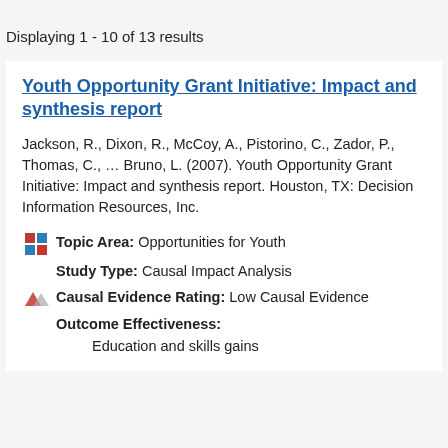Displaying 1 - 10 of 13 results
Youth Opportunity Grant Initiative: Impact and synthesis report
Jackson, R., Dixon, R., McCoy, A., Pistorino, C., Zador, P., Thomas, C., … Bruno, L. (2007). Youth Opportunity Grant Initiative: Impact and synthesis report. Houston, TX: Decision Information Resources, Inc.
Topic Area: Opportunities for Youth
Study Type: Causal Impact Analysis
Causal Evidence Rating: Low Causal Evidence
Outcome Effectiveness:
Education and skills gains